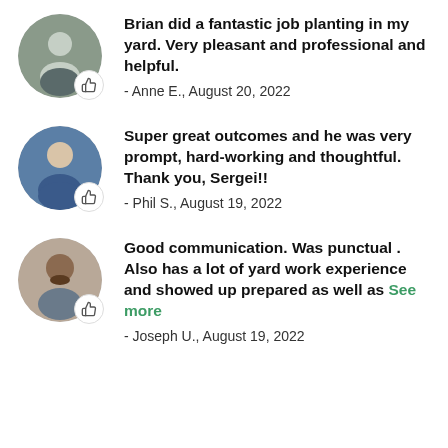Brian did a fantastic job planting in my yard. Very pleasant and professional and helpful.
- Anne E., August 20, 2022
Super great outcomes and he was very prompt, hard-working and thoughtful. Thank you, Sergei!!
- Phil S., August 19, 2022
Good communication. Was punctual . Also has a lot of yard work experience and showed up prepared as well as See more
- Joseph U., August 19, 2022